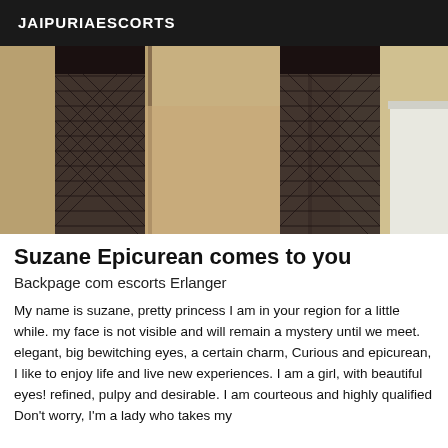JAIPURIAESCORTS
[Figure (photo): Photo showing legs wearing fishnet stockings in an indoor setting]
Suzane Epicurean comes to you
Backpage com escorts Erlanger
My name is suzane, pretty princess I am in your region for a little while. my face is not visible and will remain a mystery until we meet. elegant, big bewitching eyes, a certain charm, Curious and epicurean, I like to enjoy life and live new experiences. I am a girl, with beautiful eyes! refined, pulpy and desirable. I am courteous and highly qualified Don't worry, I'm a lady who takes my